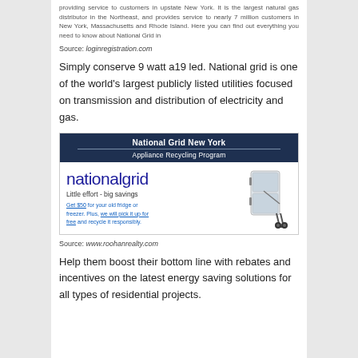providing service to customers in upstate New York. It is the largest natural gas distributor in the Northeast, and provides service to nearly 7 million customers in New York, Massachusetts and Rhode Island. Here you can find out everything you need to know about National Grid in
Source: loginregistration.com
Simply conserve 9 watt a19 led. National grid is one of the world's largest publicly listed utilities focused on transmission and distribution of electricity and gas.
[Figure (illustration): National Grid New York Appliance Recycling Program advertisement banner. Dark blue header with 'National Grid New York' and 'Appliance Recycling Program' text. Below shows nationalgrid logo, tagline 'Little effort - big savings', offer text 'Get $50 for your old fridge or freezer. Plus, we will pick it up for free and recycle it responsibly.' Image of a refrigerator on a hand truck on the right.]
Source: www.roohanrealty.com
Help them boost their bottom line with rebates and incentives on the latest energy saving solutions for all types of residential projects.